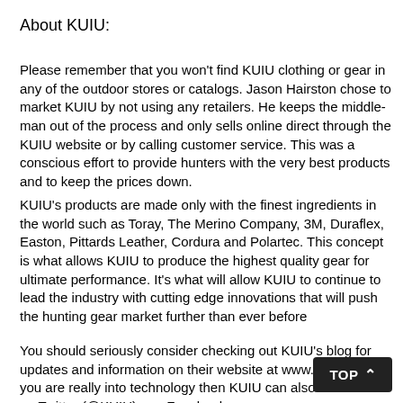About KUIU:
Please remember that you won't find KUIU clothing or gear in any of the outdoor stores or catalogs. Jason Hairston chose to market KUIU by not using any retailers. He keeps the middle-man out of the process and only sells online direct through the KUIU website or by calling customer service. This was a conscious effort to provide hunters with the very best products and to keep the prices down.
KUIU's products are made only with the finest ingredients in the world such as Toray, The Merino Company, 3M, Duraflex, Easton, Pittards Leather, Cordura and Polartec. This concept is what allows KUIU to produce the highest quality gear for ultimate performance. It's what will allow KUIU to continue to lead the industry with cutting edge innovations that will push the hunting gear market further than ever before
You should seriously consider checking out KUIU's blog for updates and information on their website at www.KUIU.com. If you are really into technology then KUIU can also be followed on Twitter (@KUIU) and Facebook (www.facebook.com/KUIUultralight). I appreciate the fact that Jason and his team don't hesitate